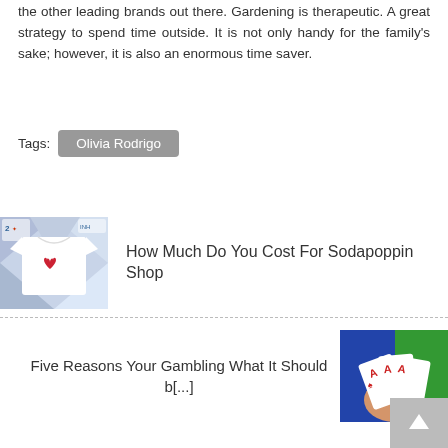the other leading brands out there. Gardening is therapeutic. A great strategy to spend time outside. It is not only handy for the family's sake; however, it is also an enormous time saver.
Tags: Olivia Rodrigo
[Figure (photo): Photo of a white t-shirt with a red heart on a colorful background, with small logos in the corner]
How Much Do You Cost For Sodapoppin Shop
[Figure (photo): Photo of a hand holding playing cards over a green surface]
Five Reasons Your Gambling What It Should b[...]